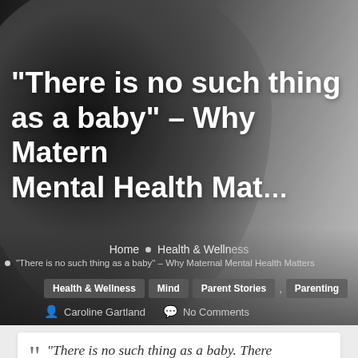[Figure (photo): Black and white close-up portrait of a person's face, looking sideways, with a slightly blurred background]
“There is no such thing as a baby” – Why Maternal Mental Health Mat…
Home • Health & Wellness
“There is no such thing as a baby” – Why Maternal Mental Health Matters
Health & Wellness
Mind
Parent Stories
Parenting
Caroline Gartland
No Comments
“There is no such thing as a baby. There…